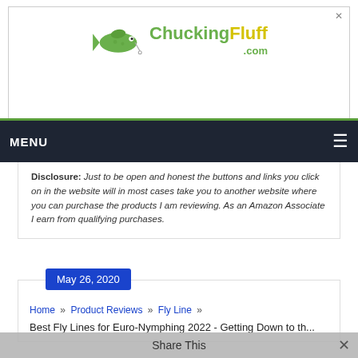[Figure (logo): ChuckingFluff.com logo with green fish and stylized text]
MENU  ☰
WANT TO CATCH MORE FISH?
Disclosure: Just to be open and honest the buttons and links you click on in the website will in most cases take you to another website where you can purchase the products I am reviewing. As an Amazon Associate I earn from qualifying purchases.
May 26, 2020
Home » Product Reviews » Fly Line »
Best Fly Lines for Euro-Nymphing 2022 - Getting Down to th...
Share This